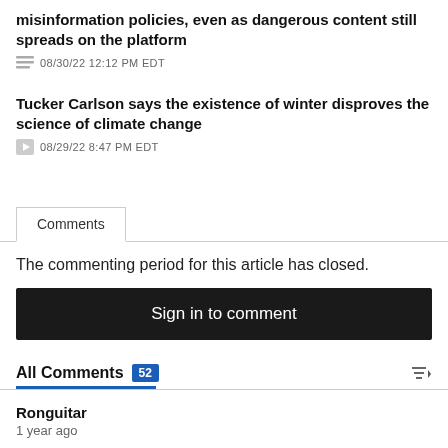misinformation policies, even as dangerous content still spreads on the platform
08/30/22 12:12 PM EDT
Tucker Carlson says the existence of winter disproves the science of climate change
08/29/22 8:47 PM EDT
Comments
The commenting period for this article has closed.
Sign in to comment
All Comments 52
Ronguitar
1 year ago